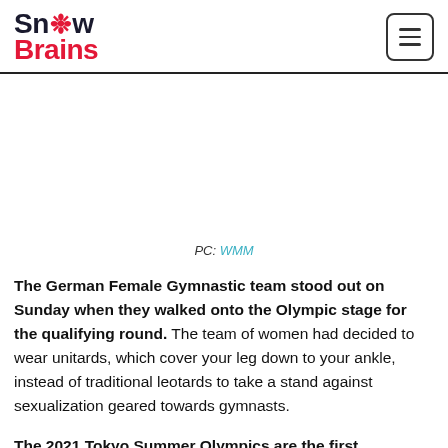Snow Brains
[Figure (other): Advertisement placeholder area (blank white space)]
PC: WMM
The German Female Gymnastic team stood out on Sunday when they walked onto the Olympic stage for the qualifying round. The team of women had decided to wear unitards, which cover your leg down to your ankle, instead of traditional leotards to take a stand against sexualization geared towards gymnasts.
The 2021 Tokyo Summer Olympics are the first